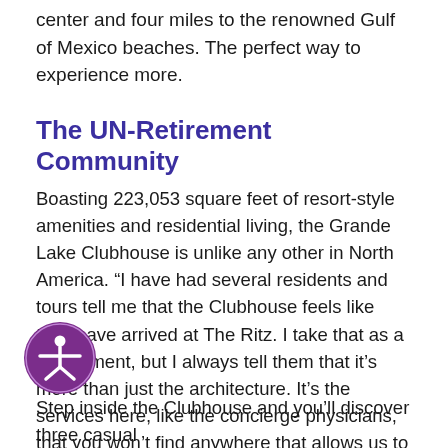center and four miles to the renowned Gulf of Mexico beaches. The perfect way to experience more.
The UN-Retirement Community
Boasting 223,053 square feet of resort-style amenities and residential living, the Grande Lake Clubhouse is unlike any other in North America. “I have had several residents and tours tell me that the Clubhouse feels like they have arrived at The Ritz. I take that as a compliment, but I always tell them that it’s more than just the architecture. It’s the services here, like the concierge physicians, that you won’t find anywhere that allows us to serve our members on an unprecedented level. If you are looking for a luxurious home, along with world-class healthcare, this is your opportunity,” states Mann.
[Figure (other): Accessibility icon: circular purple button with white figure of a person with arms extended]
Step inside the Clubhouse and you’ll discover three casual